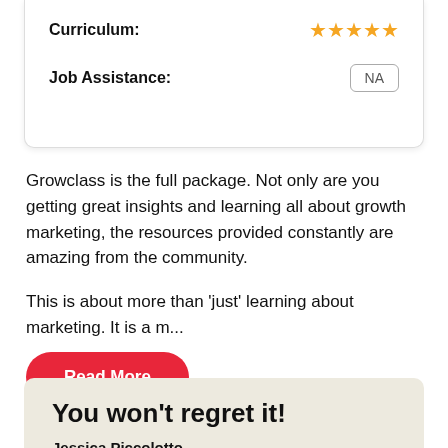Curriculum: ★★★★★
Job Assistance: NA
Growclass is the full package. Not only are you getting great insights and learning all about growth marketing, the resources provided constantly are amazing from the community.

This is about more than 'just' learning about marketing. It is a m...
Read More
You won't regret it!
Jessica Piccolotto
May 10, 2021